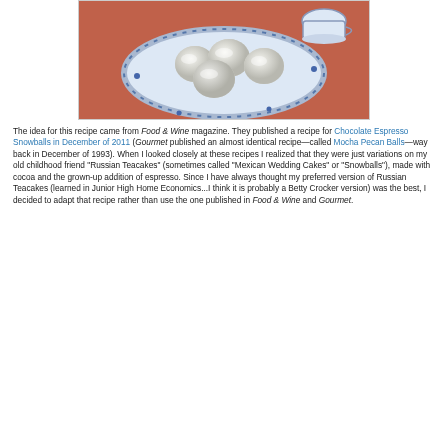[Figure (photo): Photograph of snowball cookies dusted in powdered sugar on a blue and white decorative plate, with a teacup in the background on a reddish tablecloth.]
The idea for this recipe came from Food & Wine magazine. They published a recipe for Chocolate Espresso Snowballs in December of 2011 (Gourmet published an almost identical recipe—called Mocha Pecan Balls—way back in December of 1993). When I looked closely at these recipes I realized that they were just variations on my old childhood friend "Russian Teacakes" (sometimes called "Mexican Wedding Cakes" or "Snowballs"), made with cocoa and the grown-up addition of espresso. Since I have always thought my preferred version of Russian Teacakes (learned in Junior High Home Economics...I think it is probably a Betty Crocker version) was the best, I decided to adapt that recipe rather than use the one published in Food & Wine and Gourmet.